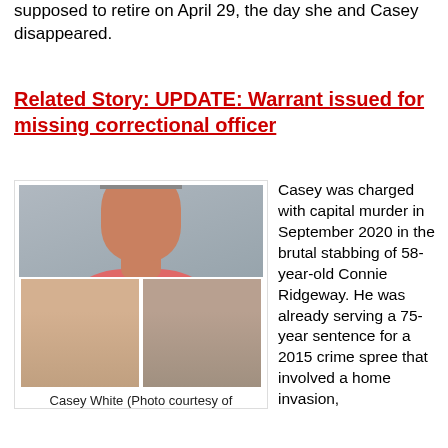supposed to retire on April 29, the day she and Casey disappeared.
Related Story: UPDATE: Warrant issued for missing correctional officer
[Figure (photo): Mugshot of Casey White in pink/red prison uniform, with two smaller mugshots inset at bottom]
Casey White (Photo courtesy of
Casey was charged with capital murder in September 2020 in the brutal stabbing of 58-year-old Connie Ridgeway. He was already serving a 75-year sentence for a 2015 crime spree that involved a home invasion,